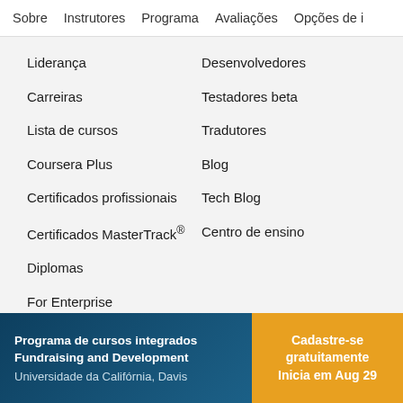Sobre  Instrutores  Programa  Avaliações  Opções de i
Liderança
Desenvolvedores
Carreiras
Testadores beta
Lista de cursos
Tradutores
Coursera Plus
Blog
Certificados profissionais
Tech Blog
Certificados MasterTrack®
Centro de ensino
Diplomas
For Enterprise
Para Governos
For Campus
Seja um parceiro
Programa de cursos integrados Fundraising and Development
Universidade da Califórnia, Davis
Cadastre-se gratuitamente
Inicia em Aug 29